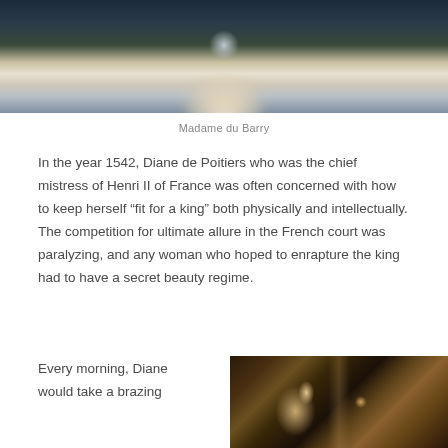[Figure (photo): Partial view of a portrait painting of Madame du Barry, showing a woman in white/cream dress with floral detail, dark atmospheric background]
Madame du Barry
In the year 1542, Diane de Poitiers who was the chief mistress of Henri II of France was often concerned with how to keep herself “fit for a king” both physically and intellectually. The competition for ultimate allure in the French court was paralyzing, and any woman who hoped to enrapture the king had to have a secret beauty regime.
Every morning, Diane would take a brazing
[Figure (photo): Partial view of a dark Renaissance-style portrait painting showing a woman in period clothing with jewelry]